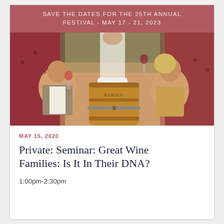SAVE THE DATES FOR THE 25TH ANNUAL FESTIVAL - MAY 17 - 21, 2023
[Figure (photo): Group photo of people posing with wine glasses around a wine barrel labeled 'Barolo', seated on red velvet chairs]
MAY 15, 2020
Private: Seminar: Great Wine Families: Is It In Their DNA?
1:00pm-2:30pm